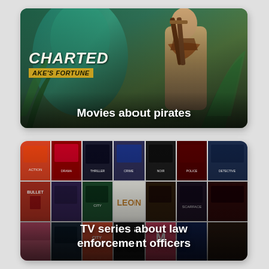[Figure (photo): Movie poster card for 'Movies about pirates' featuring Uncharted: Drake's Fortune game art with a male figure carrying weapons against a jungle/teal background. Text overlay reads 'Movies about pirates'.]
[Figure (photo): Movie poster collage card featuring many movie poster thumbnails arranged in a grid. Text overlay reads 'TV series about law enforcement officers'.]